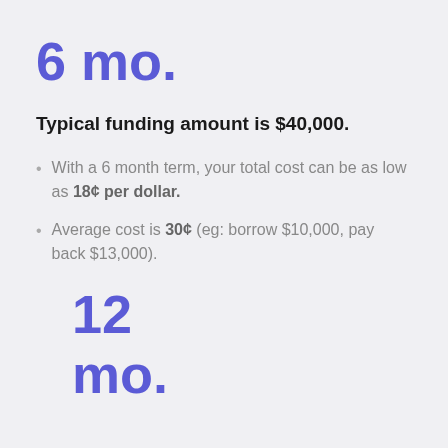6 mo.
Typical funding amount is $40,000.
With a 6 month term, your total cost can be as low as 18¢ per dollar.
Average cost is 30¢ (eg: borrow $10,000, pay back $13,000).
12 mo.